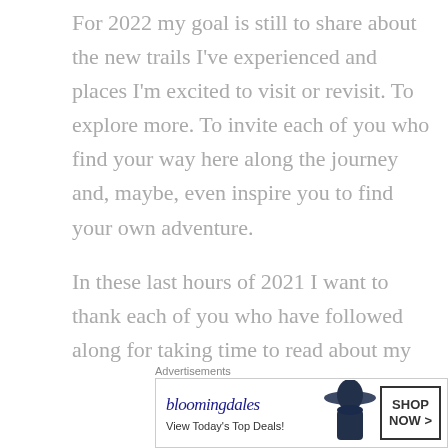For 2022 my goal is still to share about the new trails I've experienced and places I'm excited to visit or revisit. To explore more. To invite each of you who find your way here along the journey and, maybe, even inspire you to find your own adventure.
In these last hours of 2021 I want to thank each of you who have followed along for taking time to read about my adventures. It means a great deal to know what I have to share matters to someone out there.
May your 2022 be filled with adventure and wonder!
Next Post Preview: I'll share a little of a past hike or
[Figure (other): Bloomingdale's advertisement banner showing logo, 'View Today’s Top Deals!' tagline, woman in wide-brim hat, and 'SHOP NOW >' call-to-action button]